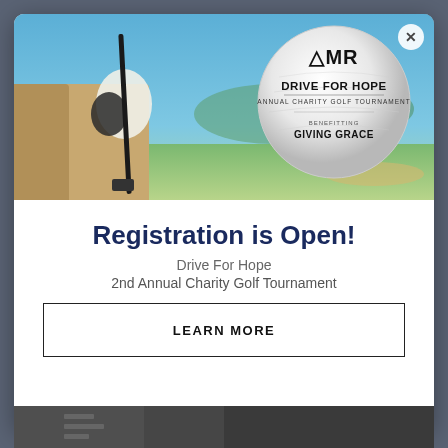[Figure (photo): Banner image of a golfer holding a golf club with a golf course in the background, overlaid with a golf ball logo reading 'AMR DRIVE FOR HOPE ANNUAL CHARITY GOLF TOURNAMENT BENEFITTING GIVING GRACE']
Registration is Open!
Drive For Hope
2nd Annual Charity Golf Tournament
LEARN MORE
[Figure (photo): Bottom strip showing a partial photo, dark toned]